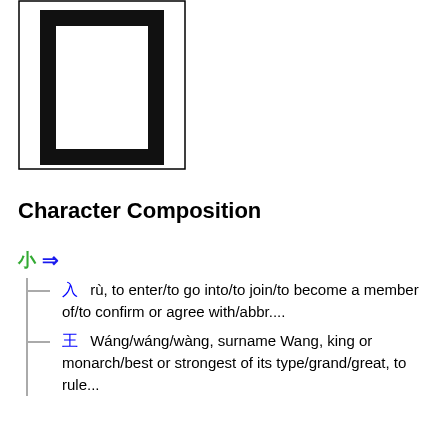[Figure (illustration): Chinese character drawn with thick black strokes inside a rectangular box outline — appears to be the character 入 or similar, displayed large with a thin outer border rectangle]
Character Composition
⬛ ⇒
├ ⬛  rù, to enter/to go into/to join/to become a member of/to confirm or agree with/abbr....
└ ⬛  Wáng/wáng/wàng, surname Wang, king or monarch/best or strongest of its type/grand/great, to rule...